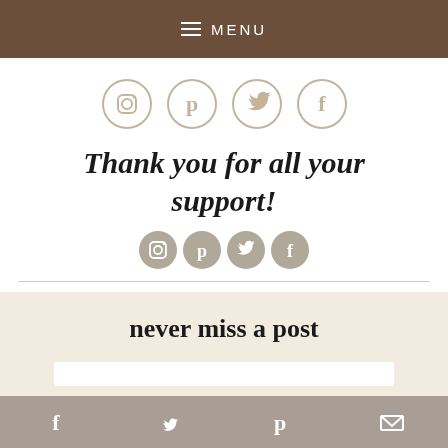MENU
[Figure (illustration): Four social media icons in circles (Instagram, Pinterest, Twitter, Facebook) with tan/beige outline style]
Thank you for all your support!
[Figure (illustration): Four small social media icons (Instagram, Pinterest, Twitter, Facebook) in filled gray style]
never miss a post
Social media share bar with Facebook, Twitter, Pinterest, and email icons